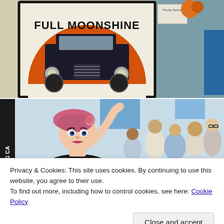[Figure (photo): Indoor event photo showing a 'Full Moonshine' branded sign/poster featuring a vintage black car in front of a large orange moon/circle. People visible at edges, decorations including pumpkins visible in background.]
[Figure (photo): Indoor event or exhibition photo showing a decorative doll/figurine with pink hat and dramatic pose in foreground, crowd of people in background with signage. Partial text 'GANG CA' visible on left edge.]
Privacy & Cookies: This site uses cookies. By continuing to use this website, you agree to their use.
To find out more, including how to control cookies, see here: Cookie Policy
[Figure (photo): Partial view of a third photo at bottom of page, showing colorful items at what appears to be an event or market.]